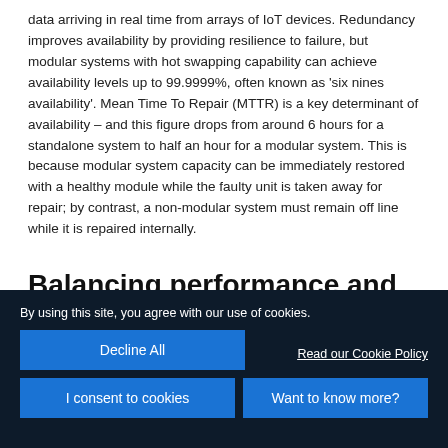data arriving in real time from arrays of IoT devices. Redundancy improves availability by providing resilience to failure, but modular systems with hot swapping capability can achieve availability levels up to 99.9999%, often known as 'six nines availability'. Mean Time To Repair (MTTR) is a key determinant of availability – and this figure drops from around 6 hours for a standalone system to half an hour for a modular system. This is because modular system capacity can be immediately restored with a healthy module while the faulty unit is taken away for repair; by contrast, a non-modular system must remain off line while it is repaired internally.
Balancing performance and cost
By using this site, you agree with our use of cookies.
Decline All
Read our Cookie Policy
I consent to cookies
Want to know more?